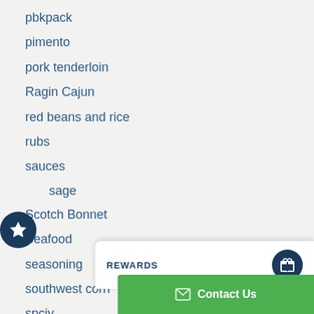pbkpack
pimento
pork tenderloin
Ragin Cajun
red beans and rice
rubs
sauces
sausage
Scotch Bonnet
Seafood
seasoning
southwest corn
spciy
street corn